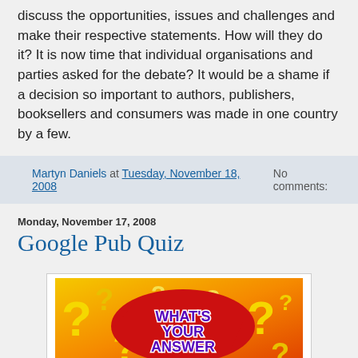discuss the opportunities, issues and challenges and make their respective statements. How will they do it? It is now time that individual organisations and parties asked for the debate? It would be a shame if a decision so important to authors, publishers, booksellers and consumers was made in one country by a few.
Martyn Daniels at Tuesday, November 18, 2008   No comments:
Monday, November 17, 2008
Google Pub Quiz
[Figure (illustration): Colorful quiz graphic with orange and yellow background, question marks, and text reading WHAT'S YOUR ANSWER in purple letters on a red splash shape]